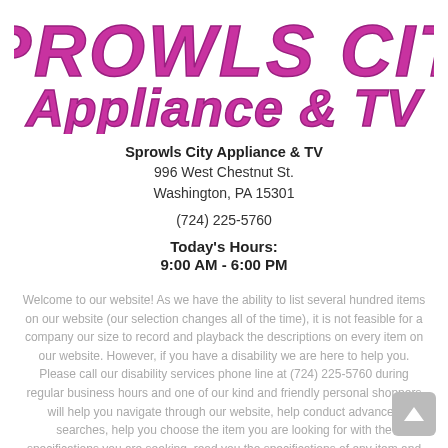[Figure (logo): Sprowls City Appliance & TV stylized logo in purple/magenta bubbly font]
Sprowls City Appliance & TV
996 West Chestnut St.
Washington, PA 15301
(724) 225-5760
Today's Hours:
9:00 AM - 6:00 PM
Welcome to our website! As we have the ability to list several hundred items on our website (our selection changes all of the time), it is not feasible for a company our size to record and playback the descriptions on every item on our website. However, if you have a disability we are here to help you. Please call our disability services phone line at (724) 225-5760 during regular business hours and one of our kind and friendly personal shoppers will help you navigate through our website, help conduct advanced searches, help you choose the item you are looking for with the specifications you are seeking, read you the specifications of any item and